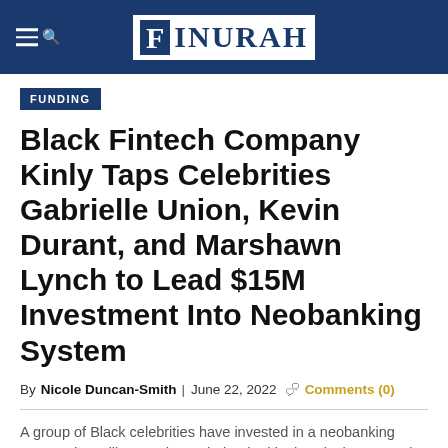FINURAH
FUNDING
Black Fintech Company Kinly Taps Celebrities Gabrielle Union, Kevin Durant, and Marshawn Lynch to Lead $15M Investment Into Neobanking System
By Nicole Duncan-Smith | June 22, 2022 Comments (0)
A group of Black celebrities have invested in a neobanking system that will serve the underbanked in the Black community. The group not only celebrates a successful